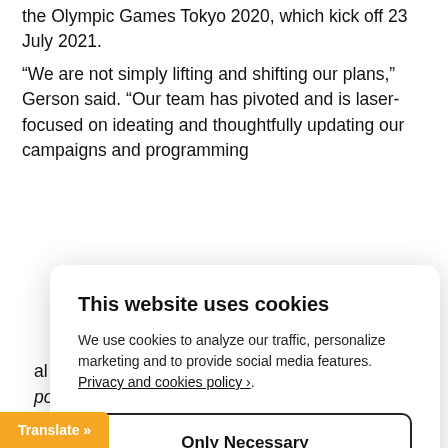the Olympic Games Tokyo 2020, which kick off 23 July 2021.
“We are not simply lifting and shifting our plans,” Gerson said. “Our team has pivoted and is laser-focused on ideating and thoughtfully updating our campaigns and programming
[Figure (screenshot): Cookie consent modal dialog with title 'This website uses cookies', body text about cookie usage with a link to Privacy and cookies policy, two buttons: 'Only Necessary' (outlined) and 'Allow All Cookies' (black filled), and a 'Configure Settings ›' link below.]
al sports partnerships, said in a recent
portBusiness